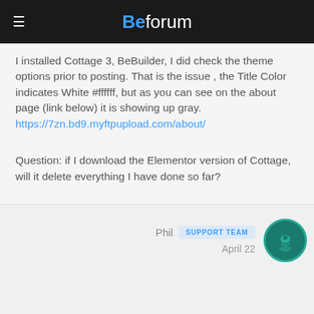Beforum
I installed Cottage 3, BeBuilder, I did check the theme options prior to posting. That is the issue , the Title Color indicates White #ffffff, but as you can see on the about page (link below) it is showing up gray.
https://7zn.bd9.myftpupload.com/about/
Question: if I download the Elementor version of Cottage, will it delete everything I have done so far?
Phil  SUPPORT TEAM
April 22